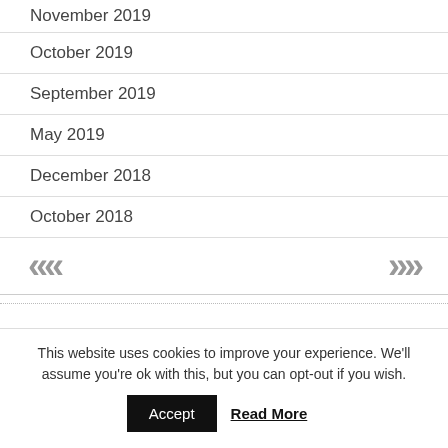November 2019
October 2019
September 2019
May 2019
December 2018
October 2018
« »
This website uses cookies to improve your experience. We'll assume you're ok with this, but you can opt-out if you wish. Accept Read More